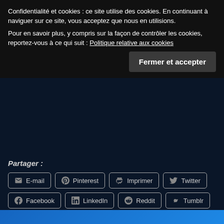Confidentialité et cookies : ce site utilise des cookies. En continuant à naviguer sur ce site, vous acceptez que nous en utilisions. Pour en savoir plus, y compris sur la façon de contrôler les cookies, reportez-vous à ce qui suit : Politique relative aux cookies
Fermer et accepter
Partager :
E-mail
Pinterest
Imprimer
Twitter
Facebook
LinkedIn
Reddit
Tumblr
WordPress:
J'aime
Soyez le premier à aimer cet article.